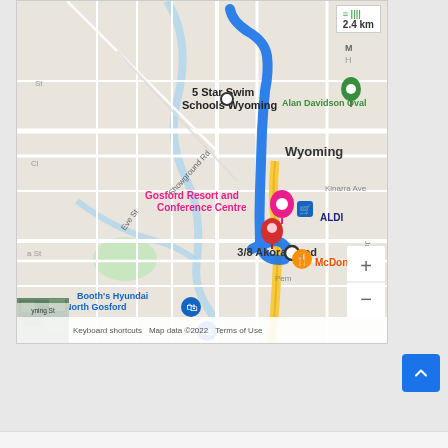[Figure (map): Google Maps screenshot showing a driving route (blue line) from 5 Star Swim Schools Wyoming to 3/8 Akora Road, distance 2.4 km. Map shows Wyoming area near Gosford, NSW Australia. Landmarks include Alan Davidson Oval, Gosford Resort and Conference Centre, ALDI, McDonald's, Booth's Hyundai North Gosford. Map data ©2022.]